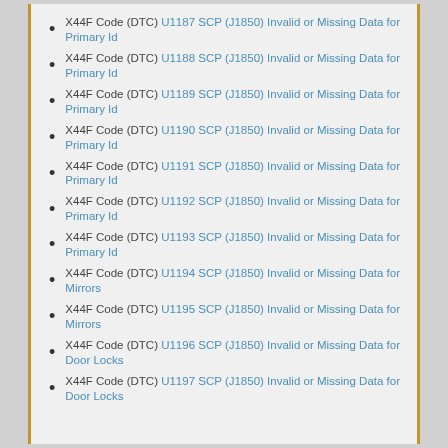X44F Code (DTC) U1187 SCP (J1850) Invalid or Missing Data for Primary Id
X44F Code (DTC) U1188 SCP (J1850) Invalid or Missing Data for Primary Id
X44F Code (DTC) U1189 SCP (J1850) Invalid or Missing Data for Primary Id
X44F Code (DTC) U1190 SCP (J1850) Invalid or Missing Data for Primary Id
X44F Code (DTC) U1191 SCP (J1850) Invalid or Missing Data for Primary Id
X44F Code (DTC) U1192 SCP (J1850) Invalid or Missing Data for Primary Id
X44F Code (DTC) U1193 SCP (J1850) Invalid or Missing Data for Primary Id
X44F Code (DTC) U1194 SCP (J1850) Invalid or Missing Data for Mirrors
X44F Code (DTC) U1195 SCP (J1850) Invalid or Missing Data for Mirrors
X44F Code (DTC) U1196 SCP (J1850) Invalid or Missing Data for Door Locks
X44F Code (DTC) U1197 SCP (J1850) Invalid or Missing Data for Door Locks